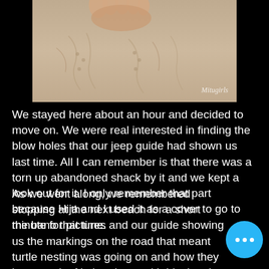[Figure (photo): Close-up photo of sand with hand marks and turtle tracks, watermark 'Mitugirls' in bottom right]
We stayed here about an hour and decided to move on. We were real interested in finding the blow holes that our jeep guide had shown us last time. All I can remember is that there was a torn up abandoned shack by it and we kept a look out for it. I only remember that part because Hija and I used it as a cover to go to the bano that time.
As we went along, we remembered stopping at the next beach for a short minute for pictures and our guide showing us the markings on the road that meant turtle nesting was going on and how they keep track of it then it out with black paint when the nest hatched.